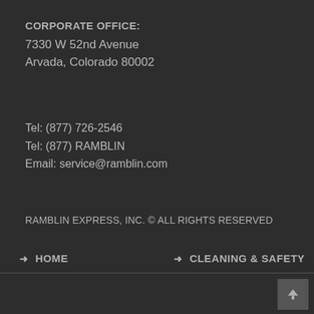CORPORATE OFFICE:
7330 W 52nd Avenue
Arvada, Colorado 80002
Tel: (877) 726-2546
Tel: (877) RAMBLIN
Email: service@ramblin.com
RAMBLIN EXPRESS, INC. © ALL RIGHTS RESERVED
→ HOME
→ CLEANING & SAFETY
→ CHARTER SERVICES
→ CASINOSHUTTLE.com
→ CONTACT US
→ GET A QUOTE
↑ (back to top button)